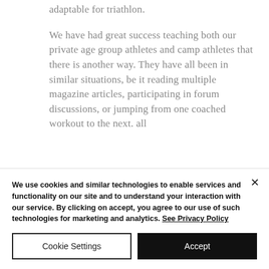adaptable for triathlon.
We have had great success teaching both our private age group athletes and camp athletes that there is another way. They have all been in similar situations, be it reading multiple magazine articles, participating in forum discussions, or jumping from one coached workout to the next. all
We use cookies and similar technologies to enable services and functionality on our site and to understand your interaction with our service. By clicking on accept, you agree to our use of such technologies for marketing and analytics. See Privacy Policy